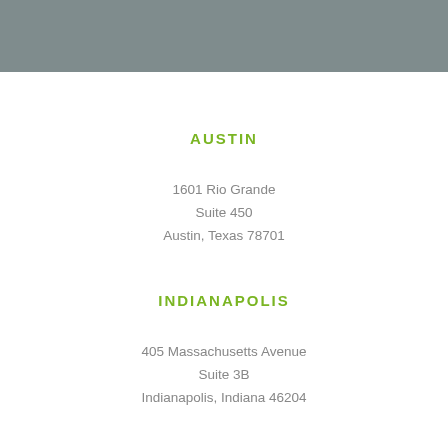AUSTIN
1601 Rio Grande
Suite 450
Austin, Texas 78701
INDIANAPOLIS
405 Massachusetts Avenue
Suite 3B
Indianapolis, Indiana 46204
NAPERVILLE
P.O. Box 5126
Naperville, Illinois 60567